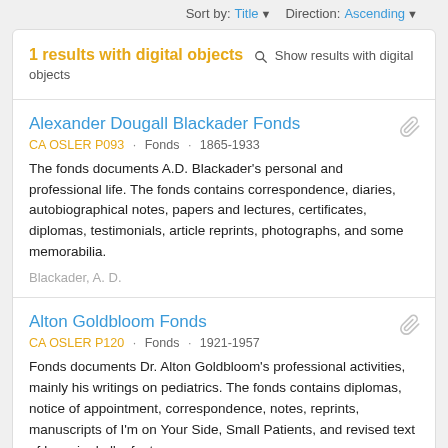Sort by: Title ▼  Direction: Ascending ▼
1 results with digital objects  🔍 Show results with digital objects
Alexander Dougall Blackader Fonds
CA OSLER P093 · Fonds · 1865-1933
The fonds documents A.D. Blackader's personal and professional life. The fonds contains correspondence, diaries, autobiographical notes, papers and lectures, certificates, diplomas, testimonials, article reprints, photographs, and some memorabilia.
Blackader, A. D.
Alton Goldbloom Fonds
CA OSLER P120 · Fonds · 1921-1957
Fonds documents Dr. Alton Goldbloom's professional activities, mainly his writings on pediatrics. The fonds contains diplomas, notice of appointment, correspondence, notes, reprints, manuscripts of I'm on Your Side, Small Patients, and revised text of Le soin de l'enfant.